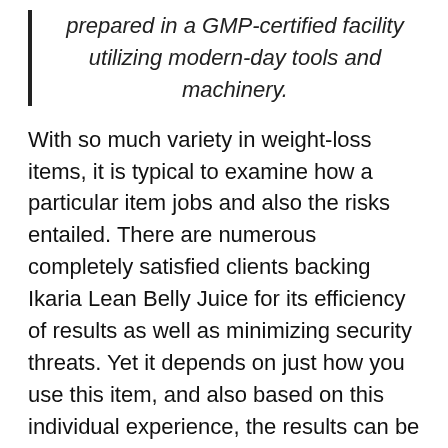prepared in a GMP-certified facility utilizing modern-day tools and machinery.
With so much variety in weight-loss items, it is typical to examine how a particular item jobs and also the risks entailed. There are numerous completely satisfied clients backing Ikaria Lean Belly Juice for its efficiency of results as well as minimizing security threats. Yet it depends on just how you use this item, and also based on this individual experience, the results can be various for various customers.
Continue analysis to recognize how it functions. If you have actually currently made a decision to give it a try, click here to get Ikaria Lean Belly Juice